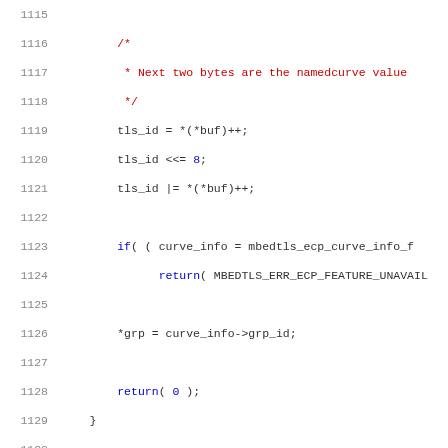Code listing lines 1115-1136, C source code showing TLS/ECP curve parsing and writing functions in mbedTLS library.